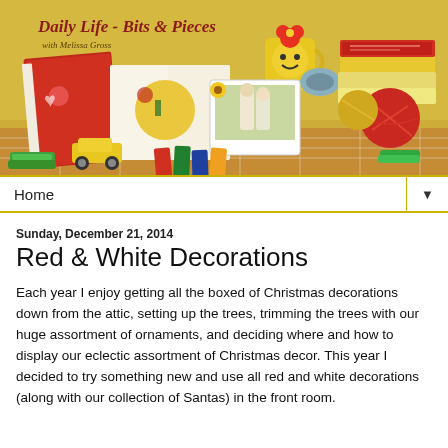[Figure (photo): Blog header banner showing 'Daily Life - Bits & Pieces with Melissa Gross' title in red italic text on a yellow background, with a collage of craft/hobby items including journals, crayons, yarn balls, a smiley face mug, books, a toy car, and a family photo.]
Home ▼
Sunday, December 21, 2014
Red & White Decorations
Each year I enjoy getting all the boxed of Christmas decorations down from the attic, setting up the trees, trimming the trees with our huge assortment of ornaments, and deciding where and how to display our eclectic assortment of Christmas decor. This year I decided to try something new and use all red and white decorations (along with our collection of Santas) in the front room.